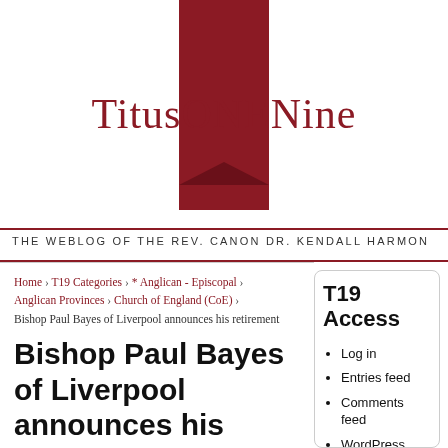[Figure (logo): TitusONENine blog logo with dark red bookmark ribbon and site title text]
THE WEBLOG OF THE REV. CANON DR. KENDALL HARMON
Home › T19 Categories › * Anglican - Episcopal › Anglican Provinces › Church of England (CoE) › Bishop Paul Bayes of Liverpool announces his retirement
Bishop Paul Bayes of Liverpool announces his retirement
Posted on July 6, 2021 by Kendall Harmon
T19 Access
Log in
Entries feed
Comments feed
WordPress